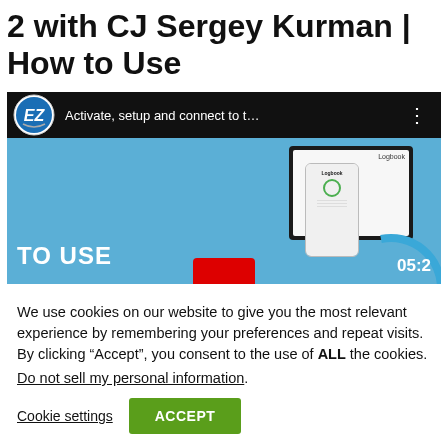2 with CJ Sergey Kurman | How to Use
[Figure (screenshot): YouTube video thumbnail showing 'Activate, setup and connect to t...' with EZ logo, blue background, tablet and phone showing Logbook app, TO USE text overlay, play button, and timer showing 05:2]
We use cookies on our website to give you the most relevant experience by remembering your preferences and repeat visits. By clicking “Accept”, you consent to the use of ALL the cookies.
Do not sell my personal information.
Cookie settings
ACCEPT